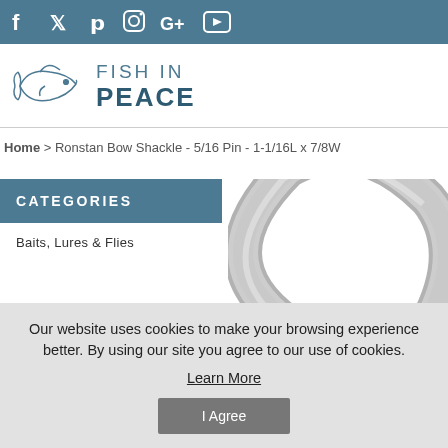Social media icons: Facebook, Twitter, Pinterest, Instagram, Google+, YouTube
[Figure (logo): Fish In Peace logo with fish illustration and text 'FISH IN PEACE']
Home > Ronstan Bow Shackle - 5/16 Pin - 1-1/16L x 7/8W
CATEGORIES
Baits, Lures & Flies
[Figure (photo): Close-up partial image of a metallic bow shackle]
Our website uses cookies to make your browsing experience better. By using our site you agree to our use of cookies.
Learn More
I Agree